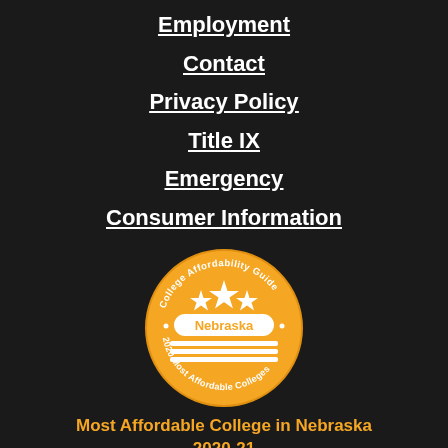Employment
Contact
Privacy Policy
Title IX
Emergency
Consumer Information
[Figure (logo): College Affordability Guide badge — orange circular seal with three stars, 'Nebraska' text in center, stripes, and text reading '2020 Most Affordable Colleges']
Most Affordable College in Nebraska 2020-21